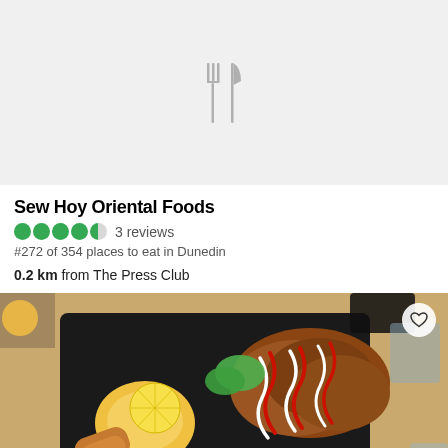[Figure (illustration): Gray placeholder image with fork and knife icon in the center]
Sew Hoy Oriental Foods
3 reviews
#272 of 354 places to eat in Dunedin
0.2 km from The Press Club
[Figure (photo): Food photo showing a bento box meal with fried chicken, lemon, salad, and sauces on a wooden table]